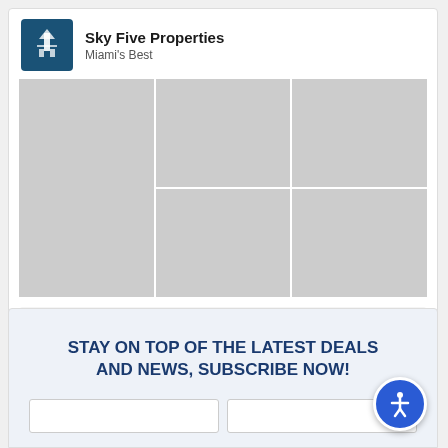Sky Five Properties
Miami's Best
[Figure (photo): Collage of six Miami property and cityscape photos arranged in a 3-column grid]
Follow On Pinterest
STAY ON TOP OF THE LATEST DEALS AND NEWS, SUBSCRIBE NOW!